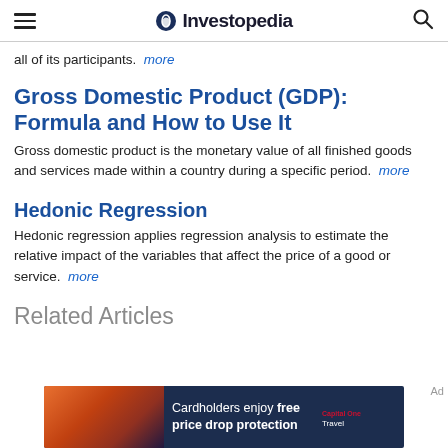Investopedia
all of its participants. more
Gross Domestic Product (GDP): Formula and How to Use It
Gross domestic product is the monetary value of all finished goods and services made within a country during a specific period. more
Hedonic Regression
Hedonic regression applies regression analysis to estimate the relative impact of the variables that affect the price of a good or service. more
Related Articles
[Figure (photo): Advertisement banner: Cardholders enjoy free price drop protection – Capital One Travel]